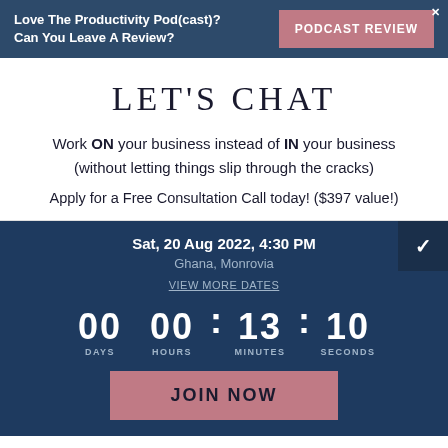Love The Productivity Pod(cast)? Can You Leave A Review?
PODCAST REVIEW
LET'S CHAT
Work ON your business instead of IN your business (without letting things slip through the cracks)
Apply for a Free Consultation Call today! ($397 value!)
Sat, 20 Aug 2022, 4:30 PM
Ghana, Monrovia
VIEW MORE DATES
00 DAYS  00 HOURS : 13 MINUTES : 10 SECONDS
JOIN NOW